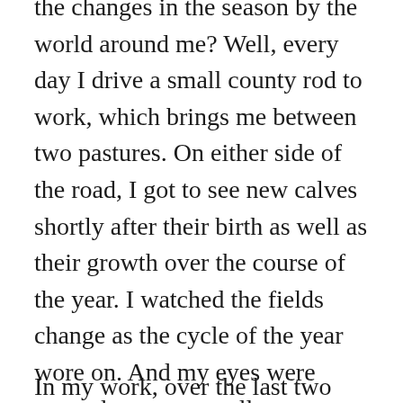the changes in the season by the world around me? Well, every day I drive a small county rod to work, which brings me between two pastures. On either side of the road, I got to see new calves shortly after their birth as well as their growth over the course of the year. I watched the fields change as the cycle of the year wore on. And my eyes were opened to some smaller measures of connectivity I had not noticed before.
In my work, over the last two years, I